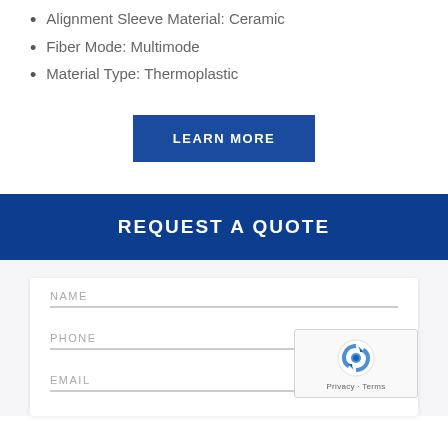Alignment Sleeve Material: Ceramic
Fiber Mode: Multimode
Material Type: Thermoplastic
LEARN MORE
REQUEST A QUOTE
NAME
PHONE
EMAIL